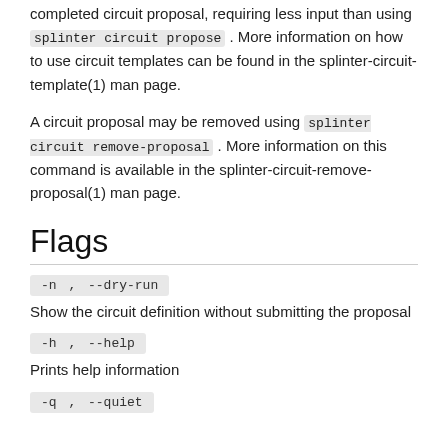completed circuit proposal, requiring less input than using splinter circuit propose . More information on how to use circuit templates can be found in the splinter-circuit-template(1) man page.
A circuit proposal may be removed using splinter circuit remove-proposal . More information on this command is available in the splinter-circuit-remove-proposal(1) man page.
Flags
-n , --dry-run
Show the circuit definition without submitting the proposal
-h , --help
Prints help information
-q , --quiet